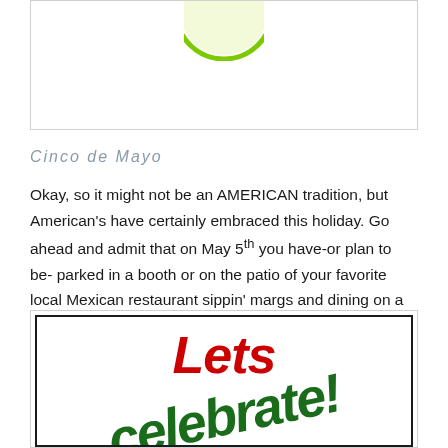[Figure (illustration): White box with a partial green smiley face visible at the top center]
Cinco de Mayo
Okay, so it might not be an AMERICAN tradition, but American's have certainly embraced this holiday. Go ahead and admit that on May 5th you have-or plan to be- parked in a booth or on the patio of your favorite local Mexican restaurant sippin' margs and dining on a tasty burrito.
[Figure (illustration): Image with bold red text 'Lets' and green diagonal text 'celebrate!' in a decorative festive style]